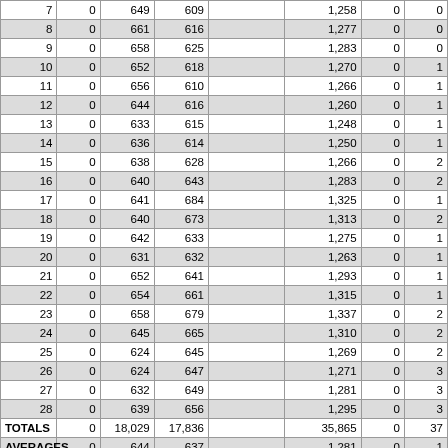| 7 | 0 | 649 | 609 |  | 1,258 | 0 | 0 |
| 8 | 0 | 661 | 616 |  | 1,277 | 0 | 0 |
| 9 | 0 | 658 | 625 |  | 1,283 | 0 | 0 |
| 10 | 0 | 652 | 618 |  | 1,270 | 0 | 1 |
| 11 | 0 | 656 | 610 |  | 1,266 | 0 | 1 |
| 12 | 0 | 644 | 616 |  | 1,260 | 0 | 1 |
| 13 | 0 | 633 | 615 |  | 1,248 | 0 | 1 |
| 14 | 0 | 636 | 614 |  | 1,250 | 0 | 1 |
| 15 | 0 | 638 | 628 |  | 1,266 | 0 | 2 |
| 16 | 0 | 640 | 643 |  | 1,283 | 0 | 2 |
| 17 | 0 | 641 | 684 |  | 1,325 | 0 | 1 |
| 18 | 0 | 640 | 673 |  | 1,313 | 0 | 2 |
| 19 | 0 | 642 | 633 |  | 1,275 | 0 | 1 |
| 20 | 0 | 631 | 632 |  | 1,263 | 0 | 1 |
| 21 | 0 | 652 | 641 |  | 1,293 | 0 | 1 |
| 22 | 0 | 654 | 661 |  | 1,315 | 0 | 1 |
| 23 | 0 | 658 | 679 |  | 1,337 | 0 | 2 |
| 24 | 0 | 645 | 665 |  | 1,310 | 0 | 2 |
| 25 | 0 | 624 | 645 |  | 1,269 | 0 | 2 |
| 26 | 0 | 624 | 647 |  | 1,271 | 0 | 3 |
| 27 | 0 | 632 | 649 |  | 1,281 | 0 | 3 |
| 28 | 0 | 639 | 656 |  | 1,295 | 0 | 3 |
| TOTALS | 0 | 18,029 | 17,836 |  | 35,865 | 0 | 37 |
| AVERAGES | 0 | 644 | 637 |  | 1,281 | 0 | 1 |